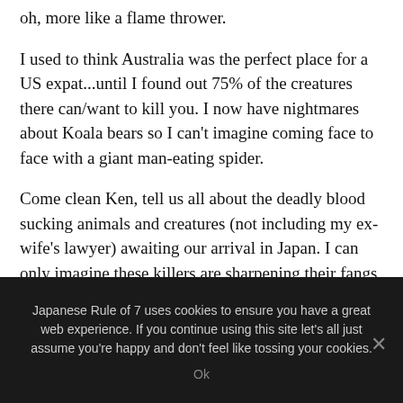oh, more like a flame thrower.
I used to think Australia was the perfect place for a US expat...until I found out 75% of the creatures there can/want to kill you. I now have nightmares about Koala bears so I can't imagine coming face to face with a giant man-eating spider.
Come clean Ken, tell us all about the deadly blood sucking animals and creatures (not including my ex-wife's lawyer) awaiting our arrival in Japan. I can only imagine these killers are sharpening their fangs awaiting their next gaijin victims...
Japanese Rule of 7 uses cookies to ensure you have a great web experience. If you continue using this site let's all just assume you're happy and don't feel like tossing your cookies.
Ok